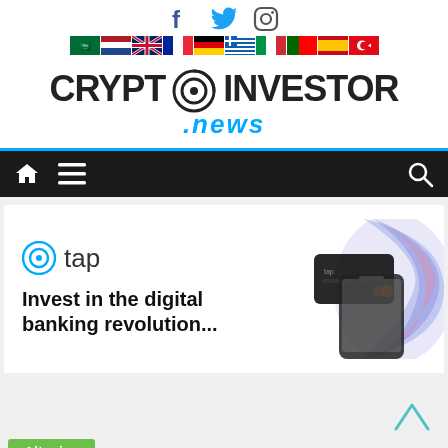[Figure (other): Social media icons (Facebook, Twitter, Instagram) and a row of country flag icons for language selection]
[Figure (logo): CryptoInvestor.News logo with stylized text and circular arrow icon]
[Figure (other): Navigation bar with home icon, hamburger menu icon, and search icon on dark background with blue top border]
[Figure (other): Tap advertisement banner showing tap logo and text 'Invest in the digital banking revolution...' with phone and card image on right]
Altcoins